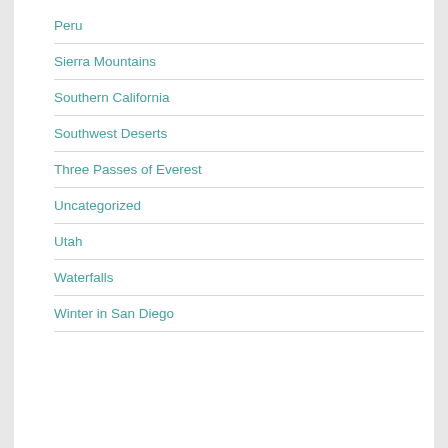Peru
Sierra Mountains
Southern California
Southwest Deserts
Three Passes of Everest
Uncategorized
Utah
Waterfalls
Winter in San Diego